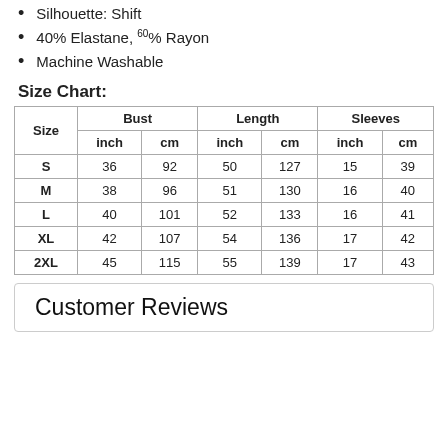Silhouette: Shift
40% Elastane, 60% Rayon
Machine Washable
Size Chart:
| Size | Bust inch | Bust cm | Length inch | Length cm | Sleeves inch | Sleeves cm |
| --- | --- | --- | --- | --- | --- | --- |
| S | 36 | 92 | 50 | 127 | 15 | 39 |
| M | 38 | 96 | 51 | 130 | 16 | 40 |
| L | 40 | 101 | 52 | 133 | 16 | 41 |
| XL | 42 | 107 | 54 | 136 | 17 | 42 |
| 2XL | 45 | 115 | 55 | 139 | 17 | 43 |
Customer Reviews